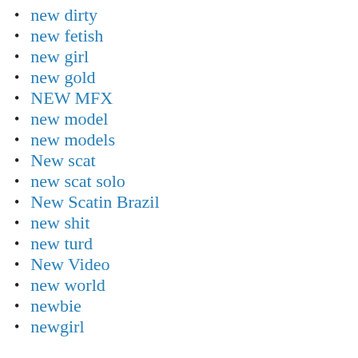new dirty
new fetish
new girl
new gold
NEW MFX
new model
new models
New scat
new scat solo
New Scatin Brazil
new shit
new turd
New Video
new world
newbie
newgirl